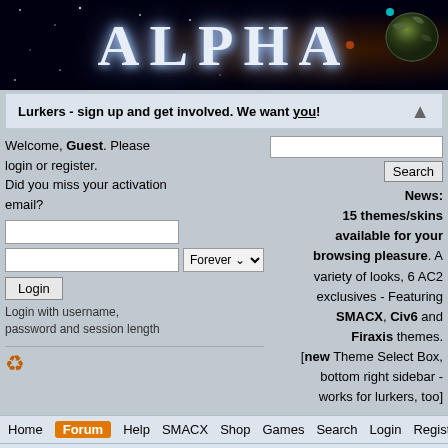[Figure (screenshot): Space-themed banner with 'ALPHA' text in silver metallic letters on a dark starfield background with a planet/spaceship visible on the right]
Lurkers - sign up and get involved. We want you!
Welcome, Guest. Please login or register. Did you miss your activation email?
News: 15 themes/skins available for your browsing pleasure. A variety of looks, 6 AC2 exclusives - Featuring SMACX, Civ6 and Firaxis themes. [new Theme Select Box, bottom right sidebar - works for lurkers, too]
Login with username, password and session length
Home | Forum | Help | SMACX | Shop | Games | Search | Login | Register
Alpha Centauri 2 » Forum
News
User
New SMAC quizzes available. Test your Alpha Centauri knowledge!